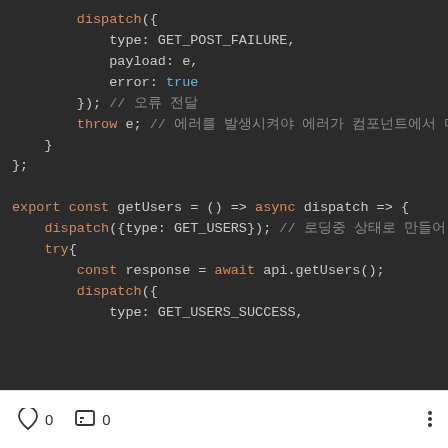[Figure (screenshot): Code screenshot showing JavaScript async action creators with dispatch calls, try/catch block, error handling with throw, and getUsers export function. Dark theme code editor.]
0  0  ⋮